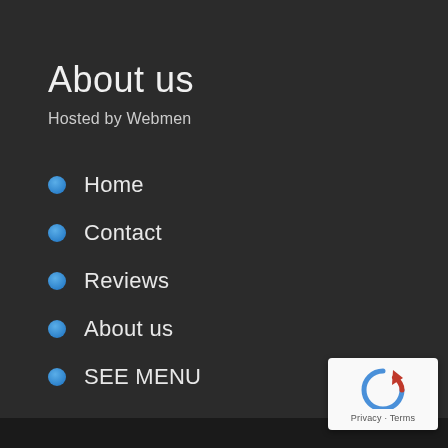About us
Hosted by Webmen
Home
Contact
Reviews
About us
SEE MENU
[Figure (logo): reCAPTCHA logo badge with circular arrow icon and Privacy · Terms text]